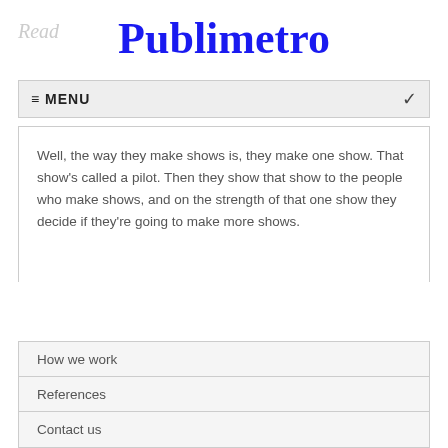Read Publimetro
≡ MENU
Well, the way they make shows is, they make one show. That show's called a pilot. Then they show that show to the people who make shows, and on the strength of that one show they decide if they're going to make more shows.
How we work
References
Contact us
Category